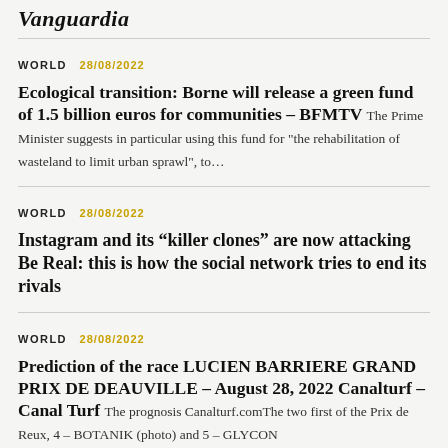Vanguardia
WORLD  28/08/2022
Ecological transition: Borne will release a green fund of 1.5 billion euros for communities – BFMTV
The Prime Minister suggests in particular using this fund for "the rehabilitation of wasteland to limit urban sprawl", to...
WORLD  28/08/2022
Instagram and its “killer clones” are now attacking Be Real: this is how the social network tries to end its rivals
WORLD  28/08/2022
Prediction of the race LUCIEN BARRIERE GRAND PRIX DE DEAUVILLE – August 28, 2022 Canalturf – Canal Turf
The prognosis Canalturf.comThe two first of the Prix de Reux, 4 – BOTANIK (photo) and 5 – GLYCON